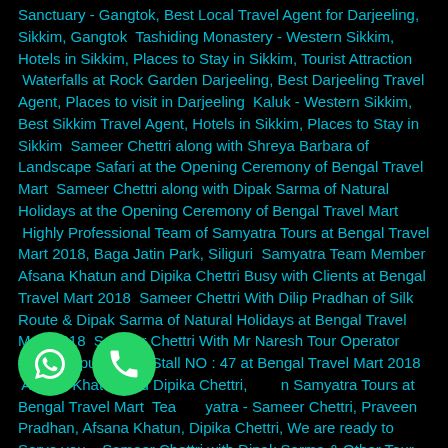Sanctuary - Gangtok, Best Local Travel Agent for Darjeeling, Sikkim, Gangtok  Tashiding Monastery - Western Sikkim, Hotels in Sikkim, Places to Stay in Sikkim, Tourist Attraction  Waterfalls at Rock Garden Darjeeling, Best Darjeeling Travel Agent, Places to visit in Darjeeling  Kaluk - Western Sikkim, Best Sikkim Travel Agent, Hotels in Sikkim, Places to Stay in Sikkim  Sameer Chettri along with Shreya Barbara of Landscape Safari at the Opening Ceremony of Bengal Travel Mart  Sameer Chettri along with Dipak Sarma of Natural Holidays at the Opening Ceremony of Bengal Travel Mart  Highly Professional Team of Samyatra Tours at Bengal Travel Mart 2018, Baga Jatin Park, Siliguri  Samyatra Team Member Afsana Khatun and Dipika Chettri Busy with Clients at Bengal Travel Mart 2018  Sameer Chettri With Dilip Pradhan of Silk Route & Dipak Sarma of Natural Holidays at Bengal Travel Mart 2018  Sameer Chettri With Mr Naresh Tour Operator from Nagpur at Our Stall NO : 47 at Bengal Travel Mart 2018  Afsana Khatun and Dipika Chettri, Members of Samyatra Tours at Bengal Travel Mart  Team Samyatra - Sameer Chettri, Praveen Pradhan, Afsana Khatun, Dipika Chettri, We are ready to Serve you..  Sameer Chettri with Dipak Sarma & Other Tour
[Figure (other): Two green circular WhatsApp-style buttons: one with a WhatsApp chat bubble icon, one with a phone handset icon]